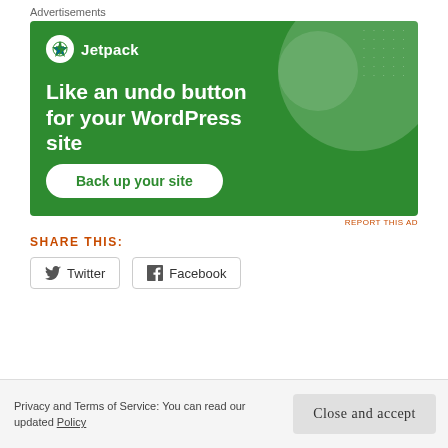Advertisements
[Figure (illustration): Jetpack advertisement banner with green background, lightning bolt logo, headline 'Like an undo button for your WordPress site', and a 'Back up your site' call-to-action button.]
REPORT THIS AD
SHARE THIS:
Twitter
Facebook
Privacy and Terms of Service: You can read our updated Policy
Close and accept